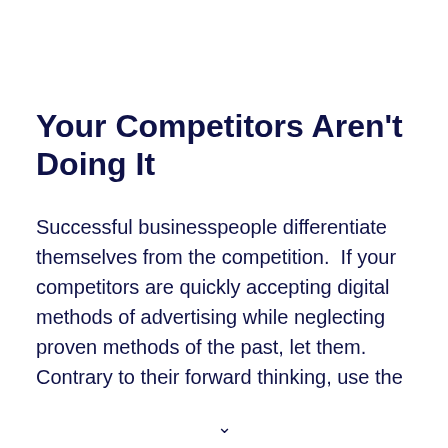Your Competitors Aren’t Doing It
Successful businesspeople differentiate themselves from the competition.  If your competitors are quickly accepting digital methods of advertising while neglecting proven methods of the past, let them. Contrary to their forward thinking, use the